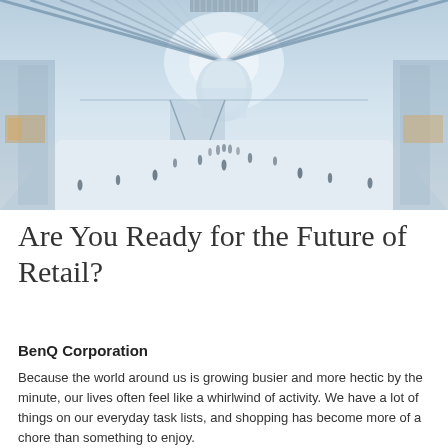[Figure (photo): Interior of a large modern architectural space with white ribbed vaulted ceiling and arched structure, resembling a transit hub or shopping center. People walk on the wide white floor below. The perspective is centered toward a bright arched window at the far end.]
Are You Ready for the Future of Retail?
BenQ Corporation
Because the world around us is growing busier and more hectic by the minute, our lives often feel like a whirlwind of activity. We have a lot of things on our everyday task lists, and shopping has become more of a chore than something to enjoy.